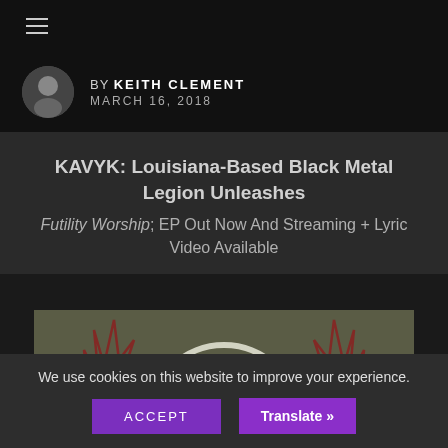≡ (hamburger menu)
BY KEITH CLEMENT
MARCH 16, 2018
KAVYK: Louisiana-Based Black Metal Legion Unleashes
Futility Worship; EP Out Now And Streaming + Lyric Video Available
[Figure (illustration): Dark horror-themed album artwork showing skeletal/monstrous figures with red tree branches against a muted green-grey background with a white circle (moon)]
We use cookies on this website to improve your experience.
ACCEPT
Translate »